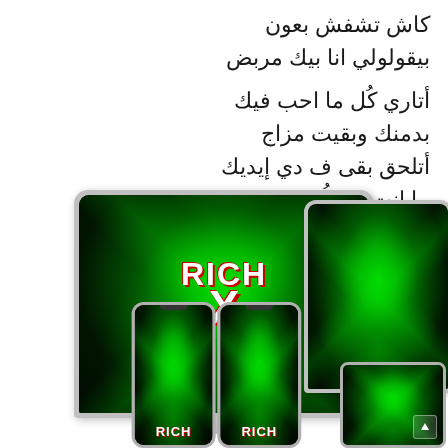كاش تشفش بعون
بيقولولي انا بيك مربض

أتاري كُل ما احب فيك
بدمنك وبقيت مزاج
أتلحق بقى ف دي إيديك
ما انت في لُقاك العلاج
[Figure (illustration): Rich X Search logo displayed on multiple devices: a large desktop monitor showing the Rich X Search branding with green neon laser tunnel background, two smartphones in the foreground showing the same green neon Rich branding, a partially visible second monitor on the right, and a tablet device in the lower right corner. The logo shows 'RICH' text above a large 'X' with 'SEARCH' below, all in white with red shadow effects on a dark green glowing background.]